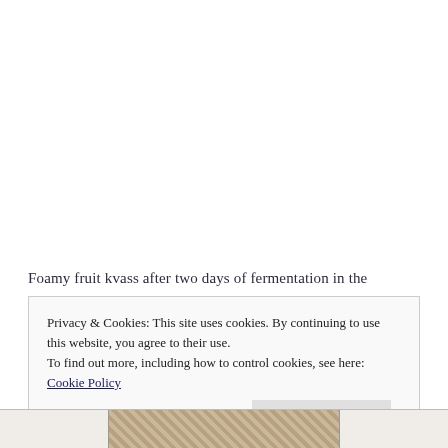Foamy fruit kvass after two days of fermentation in the
Privacy & Cookies: This site uses cookies. By continuing to use this website, you agree to their use.
To find out more, including how to control cookies, see here: Cookie Policy
[Figure (photo): Close and accept button in cookie consent banner; partial photo of wooden surface visible at bottom of page]